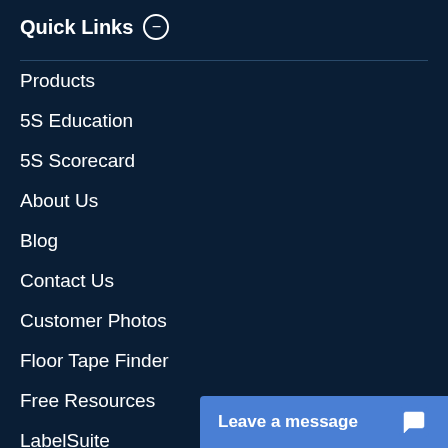Quick Links −
Products
5S Education
5S Scorecard
About Us
Blog
Contact Us
Customer Photos
Floor Tape Finder
Free Resources
LabelSuite
LabelTac® Compari...
Leave a message